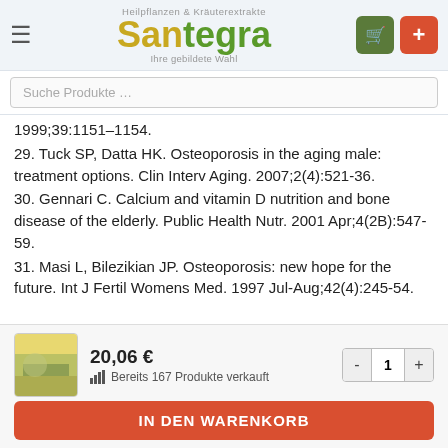[Figure (logo): Santegra logo with tagline 'Heilpflanzen & Kräuterextrakte' and 'Ihre gebildete Wahl']
Suche Produkte …
1999;39:1151–1154.
29. Tuck SP, Datta HK. Osteoporosis in the aging male: treatment options. Clin Interv Aging. 2007;2(4):521-36.
30. Gennari C. Calcium and vitamin D nutrition and bone disease of the elderly. Public Health Nutr. 2001 Apr;4(2B):547-59.
31. Masi L, Bilezikian JP. Osteoporosis: new hope for the future. Int J Fertil Womens Med. 1997 Jul-Aug;42(4):245-54.
20,06 €
Bereits 167 Produkte verkauft
IN DEN WARENKORB